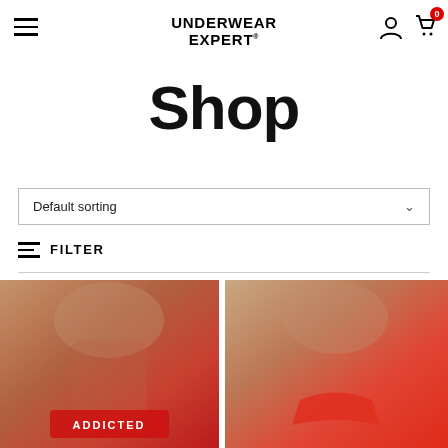UNDERWEAR EXPERT
Shop
Default sorting
FILTER
[Figure (photo): Male model wearing red Addicted brand jockstrap underwear, torso and lower body visible, muscular build with tattoos]
[Figure (photo): Male model wearing red/coral thong underwear, torso and lower body visible against light background]